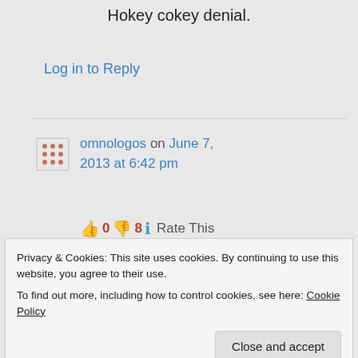Hokey cokey denial.
Log in to Reply
omnologos on June 7, 2013 at 6:42 pm
👍 0 👎 8 ℹ️ Rate This
you fail in the irony department as well.
Privacy & Cookies: This site uses cookies. By continuing to use this website, you agree to their use.
To find out more, including how to control cookies, see here: Cookie Policy
Close and accept